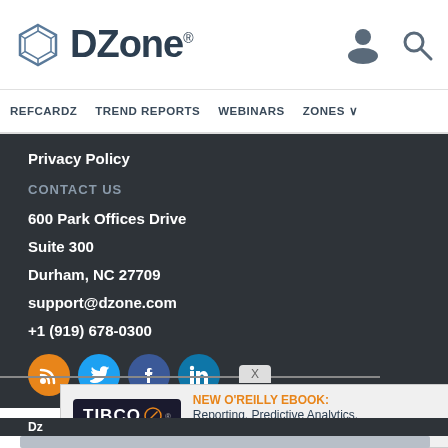[Figure (logo): DZone logo with hexagon icon and DZone. wordmark]
[Figure (illustration): Person icon and search/magnifier icon in header]
REFCARDZ   TREND REPORTS   WEBINARS   ZONES
Privacy Policy
CONTACT US
600 Park Offices Drive
Suite 300
Durham, NC 27709
support@dzone.com
+1 (919) 678-0300
[Figure (illustration): Social media icons: RSS (orange), Twitter (blue), Facebook (dark blue), LinkedIn (blue)]
[Figure (illustration): TIBCO advertisement overlay with text: NEW O'REILLY EBOOK: Reporting, Predictive Analytics, & Everything In Between]
Dz
[Figure (screenshot): Gray bar at bottom of page]